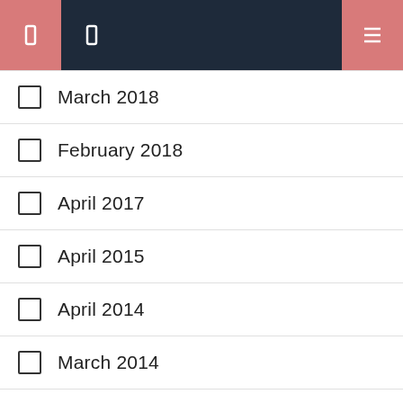navigation bar with icons
March 2018
February 2018
April 2017
April 2015
April 2014
March 2014
January 2014
September 2012
June 2011